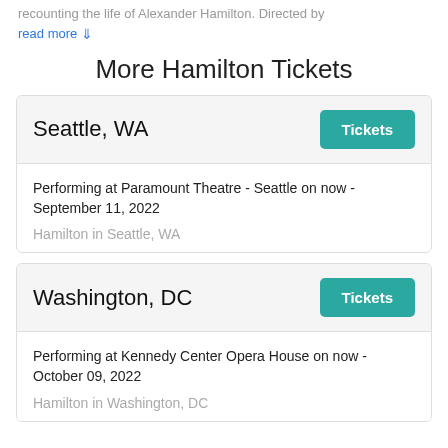recounting the life of Alexander Hamilton. Directed by
read more ↓
More Hamilton Tickets
Seattle, WA
Performing at Paramount Theatre - Seattle on now - September 11, 2022
Hamilton in Seattle, WA
Washington, DC
Performing at Kennedy Center Opera House on now - October 09, 2022
Hamilton in Washington, DC